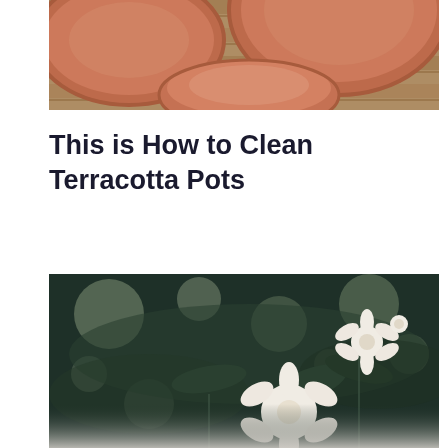[Figure (photo): Overhead view of terracotta pots on a wooden surface, showing orange-terracotta colored pots and saucers]
This is How to Clean Terracotta Pots
[Figure (photo): Close-up of white flowers (roses or similar) against a dark green bokeh background]